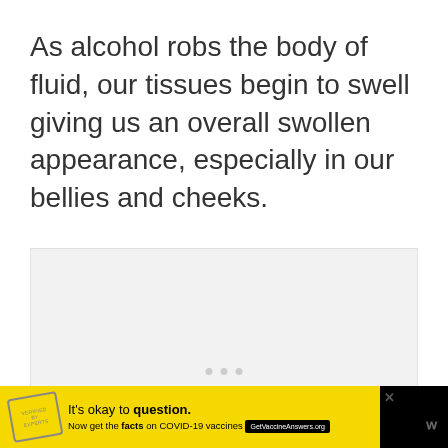As alcohol robs the body of fluid, our tissues begin to swell giving us an overall swollen appearance, especially in our bellies and cheeks.
[Figure (other): A light gray placeholder box with three small gray dots at the bottom center, indicating a content/image carousel area]
[Figure (infographic): Advertisement banner: yellow background with a stamp graphic, text 'It's okay to question. Now get the facts on COVID-19 vaccines GetVaccineAnswers.org', close button X, and white W logo on black background]